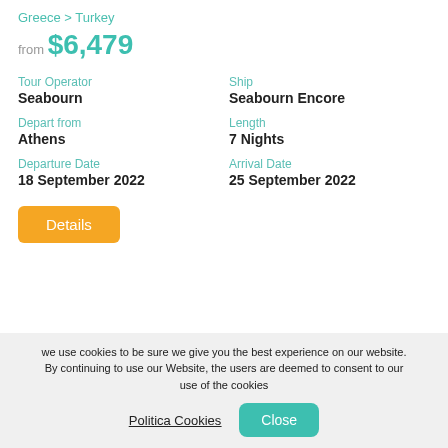Greece > Turkey
from $6,479
Tour Operator
Seabourn
Ship
Seabourn Encore
Depart from
Athens
Length
7 Nights
Departure Date
18 September 2022
Arrival Date
25 September 2022
Details
we use cookies to be sure we give you the best experience on our website. By continuing to use our Website, the users are deemed to consent to our use of the cookies
Politica Cookies
Close